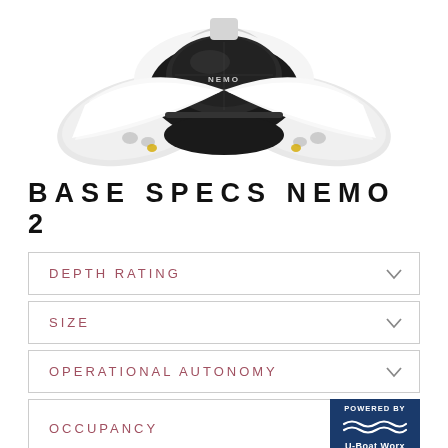[Figure (photo): Front view of Nemo 2 submarine/submersible vehicle, white hull with transparent cockpit dome and lights visible]
BASE SPECS NEMO 2
DEPTH RATING
SIZE
OPERATIONAL AUTONOMY
OCCUPANCY
[Figure (logo): Powered by U-Boat Worx badge - dark blue background with wave decoration and text]
WEIGHT